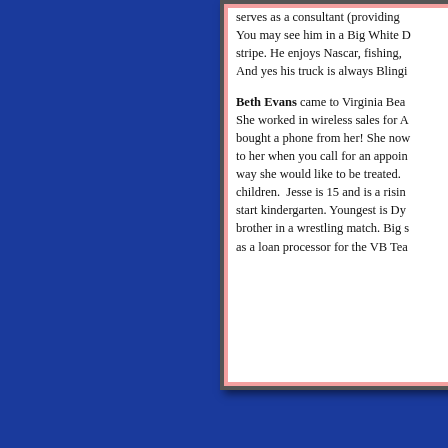serves as a consultant (providing [text cut off]). You may see him in a Big White D[text cut off] stripe. He enjoys Nascar, fishing, [text cut off] And yes his truck is always Blingi[text cut off]
Beth Evans came to Virginia Bea[text cut off] She worked in wireless sales for A[text cut off] bought a phone from her! She now[text cut off] to her when you call for an appoin[text cut off] way she would like to be treated. [text cut off] children. Jesse is 15 and is a risin[text cut off] start kindergarten. Youngest is Dy[text cut off] brother in a wrestling match. Big s[text cut off] as a loan processor for the VB Tea[text cut off]